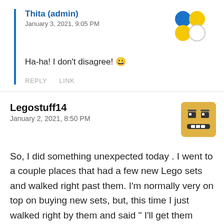Thita (admin)
January 3, 2021, 9:05 PM
Ha-ha! I don't disagree! 😁
REPLY   LINK
Legostuff14
January 2, 2021, 8:50 PM
So, I did something unexpected today . I went to a couple places that had a few new Lego sets and walked right past them. I'm normally very on top on buying new sets, but, this time I just walked right by them and said " I'll get them